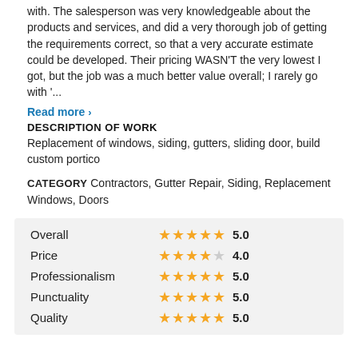with. The salesperson was very knowledgeable about the products and services, and did a very thorough job of getting the requirements correct, so that a very accurate estimate could be developed. Their pricing WASN'T the very lowest I got, but the job was a much better value overall; I rarely go with '...
Read more ›
DESCRIPTION OF WORK
Replacement of windows, siding, gutters, sliding door, build custom portico
CATEGORY Contractors, Gutter Repair, Siding, Replacement Windows, Doors
| Category | Stars | Score |
| --- | --- | --- |
| Overall | ★★★★★ | 5.0 |
| Price | ★★★★ | 4.0 |
| Professionalism | ★★★★★ | 5.0 |
| Punctuality | ★★★★★ | 5.0 |
| Quality | ★★★★★ | 5.0 |